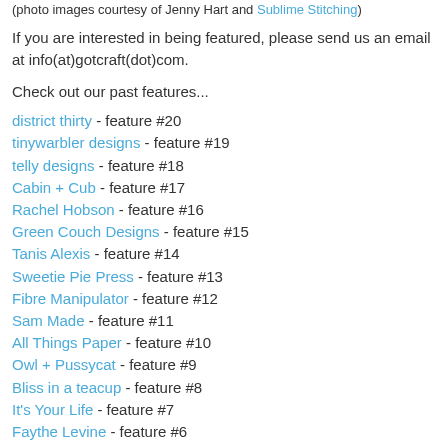(photo images courtesy of Jenny Hart and Sublime Stitching)
If you are interested in being featured, please send us an email at info(at)gotcraft(dot)com.
Check out our past features...
district thirty - feature #20
tinywarbler designs - feature #19
telly designs - feature #18
Cabin + Cub - feature #17
Rachel Hobson - feature #16
Green Couch Designs - feature #15
Tanis Alexis - feature #14
Sweetie Pie Press - feature #13
Fibre Manipulator - feature #12
Sam Made - feature #11
All Things Paper - feature #10
Owl + Pussycat - feature #9
Bliss in a teacup - feature #8
It's Your Life - feature #7
Faythe Levine - feature #6
Cara Cole Ceramics - feature #5